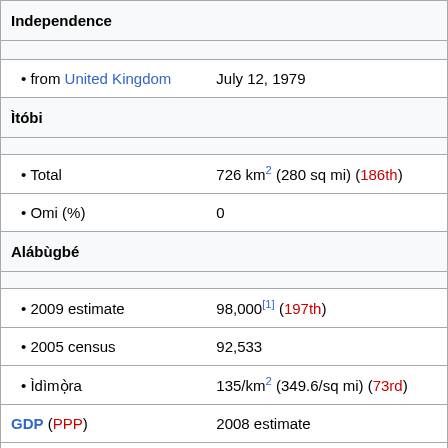| Independence |  |
| • from United Kingdom | July 12, 1979 |
| Ìtóbi |  |
| • Total | 726 km² (280 sq mi) (186th) |
| • Omi (%) | 0 |
| Alábùgbé |  |
| • 2009 estimate | 98,000[1] (197th) |
| • 2005 census | 92,533 |
| • Ìdìmọ̀ra | 135/km² (349.6/sq mi) (73rd) |
| GDP (PPP) | 2008 estimate |
| • Total | $609 million[2] |